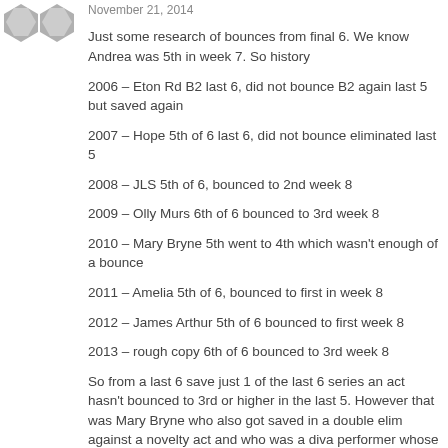November 21, 2014
Just some research of bounces from final 6. We know Andrea was 5th in week 7. So history
2006 – Eton Rd B2 last 6, did not bounce B2 again last 5 but saved again
2007 – Hope 5th of 6 last 6, did not bounce eliminated last 5
2008 – JLS 5th of 6, bounced to 2nd week 8
2009 – Olly Murs 6th of 6 bounced to 3rd week 8
2010 – Mary Bryne 5th went to 4th which wasn't enough of a bounce
2011 – Amelia 5th of 6, bounced to first in week 8
2012 – James Arthur 5th of 6 bounced to first week 8
2013 – rough copy 6th of 6 bounced to 3rd week 8
So from a last 6 save just 1 of the last 6 series an act hasn't bounced to 3rd or higher in the last 5. However that was Mary Bryne who also got saved in a double elim against a novelty act and who was a diva performer whose act was getting too samey. Her trajectory has